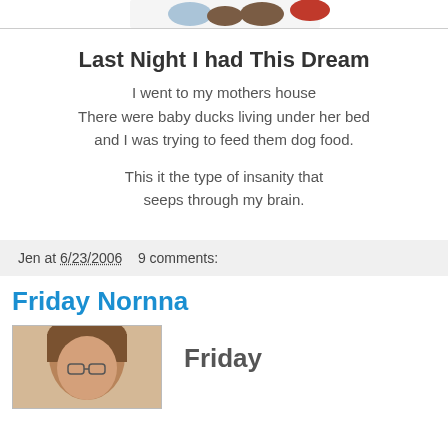[Figure (photo): Partial top image showing small colorful shoe/boot icons on white background with border]
Last Night I had This Dream
I went to my mothers house
There were baby ducks living under her bed
and I was trying to feed them dog food.

This it the type of insanity that
seeps through my brain.
Jen at 6/23/2006    9 comments:
Friday Nornna
[Figure (photo): Photo of a woman with brown hair]
Friday